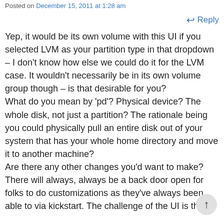Posted on December 15, 2011 at 1:28 am
Reply
Yep, it would be its own volume with this UI if you selected LVM as your partition type in that dropdown – I don't know how else we could do it for the LVM case. It wouldn't necessarily be in its own volume group though – is that desirable for you?
What do you mean by 'pd'? Physical device? The whole disk, not just a partition? The rationale being you could physically pull an entire disk out of your system that has your whole home directory and move it to another machine?
Are there any other changes you'd want to make? There will always, always be a back door open for folks to do customizations as they've always been able to via kickstart. The challenge of the UI is the